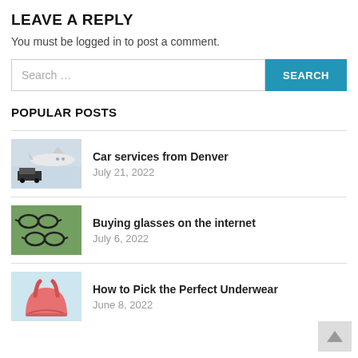LEAVE A REPLY
You must be logged in to post a comment.
Search ...
POPULAR POSTS
Car services from Denver
July 21, 2022
Buying glasses on the internet
July 6, 2022
How to Pick the Perfect Underwear
June 8, 2022